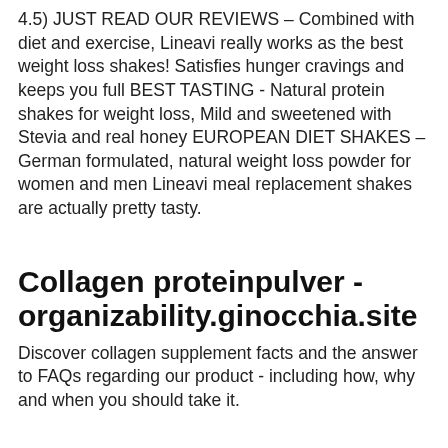4.5) JUST READ OUR REVIEWS – Combined with diet and exercise, Lineavi really works as the best weight loss shakes! Satisfies hunger cravings and keeps you full BEST TASTING - Natural protein shakes for weight loss, Mild and sweetened with Stevia and real honey EUROPEAN DIET SHAKES – German formulated, natural weight loss powder for women and men Lineavi meal replacement shakes are actually pretty tasty.
Collagen proteinpulver - organizability.ginocchia.site
Discover collagen supplement facts and the answer to FAQs regarding our product - including how, why and when you should take it.